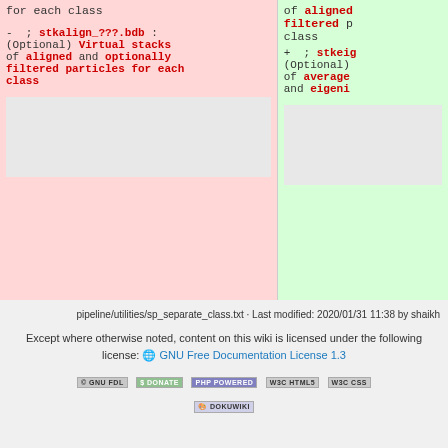[Figure (screenshot): Diff view showing two columns. Left column (red/pink background) shows removed content with '-' marker: 'for each class' header text, then '- ; stkalign_???.bdb : (Optional) Virtual stacks of aligned and optionally filtered particles for each class'. Right column (green background) shows added content with '+' marker: 'of aligned filtered p class' header text, then '+ ; stkeig (Optional) of average and eigeni'.]
pipeline/utilities/sp_separate_class.txt · Last modified: 2020/01/31 11:38 by shaikh
Except where otherwise noted, content on this wiki is licensed under the following license: GNU Free Documentation License 1.3